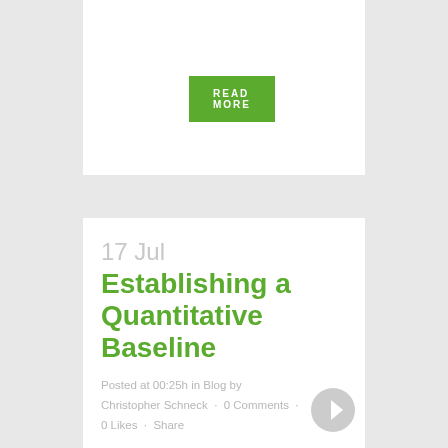READ MORE
17 Jul
Establishing a Quantitative Baseline
Posted at 00:25h in Blog by Christopher Schneck · 0 Comments · 0 Likes · Share
If you don't have a clear picture of